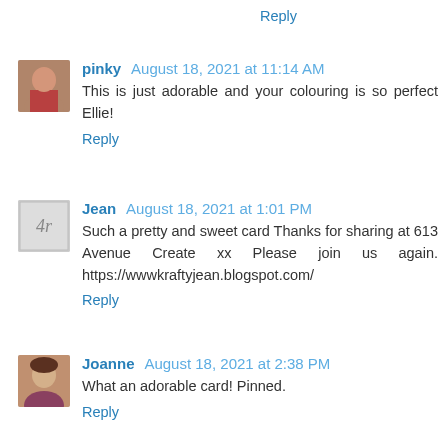Reply
pinky August 18, 2021 at 11:14 AM
This is just adorable and your colouring is so perfect Ellie!
Reply
Jean August 18, 2021 at 1:01 PM
Such a pretty and sweet card Thanks for sharing at 613 Avenue Create xx Please join us again. https://wwwkraftyjean.blogspot.com/
Reply
Joanne August 18, 2021 at 2:38 PM
What an adorable card! Pinned.
Reply